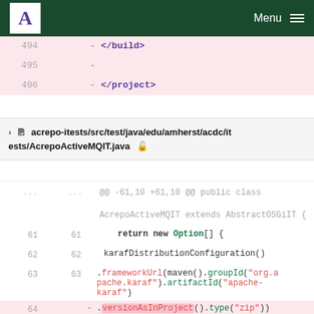A Menu
494   -   </build>
495   -
496   -   </project>
acrepo-itests/src/test/java/edu/amherst/acdc/itests/AcrepoActiveMQIT.java
@@ -61,10 +61,10 @@ public class AcrepoActiveMQIT extends AbstractOSGiIT {
61  61    return new Option[] {
62  62     karafDistributionConfiguration()
63  63      .frameworkUrl(maven().groupId("org.apache.karaf").artifactId("apache-karaf")
64  -      .versionAsInProject().type("zip"))
65  -           .unpackDirectory(new File("target", "exam"))